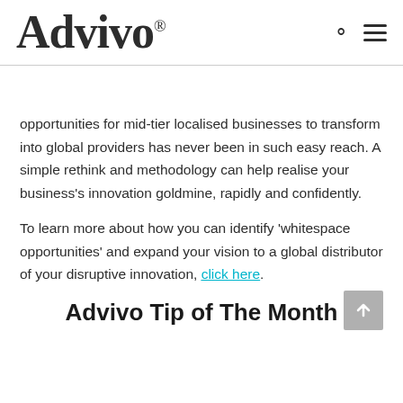Advivo®
opportunities for mid-tier localised businesses to transform into global providers has never been in such easy reach. A simple rethink and methodology can help realise your business's innovation goldmine, rapidly and confidently.
To learn more about how you can identify 'whitespace opportunities' and expand your vision to a global distributor of your disruptive innovation, click here.
Advivo Tip of The Month